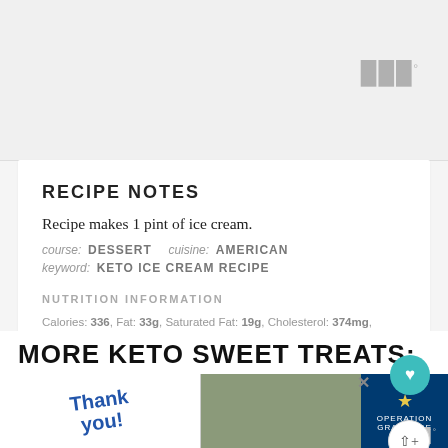[Figure (other): Decorative watermark icon area at top of page with three vertical bars icon]
RECIPE NOTES
Recipe makes 1 pint of ice cream.
course: DESSERT   cuisine: AMERICAN
keyword: KETO ICE CREAM RECIPE
NUTRITION INFORMATION
Calories: 336, Fat: 33g, Saturated Fat: 19g, Cholesterol: 374mg, Sodium: 117mg, Potassium: 74mg, Carbohydrates: 3g, Protein: 5g, Vitamin A: 1265%, Vitamin C: 0.3%, Calcium: 148%, Iron: 0.7%
MORE KETO SWEET TREATS:
[Figure (photo): Advertisement banner: Thank You! with Operation Gratitude logo and military photo]